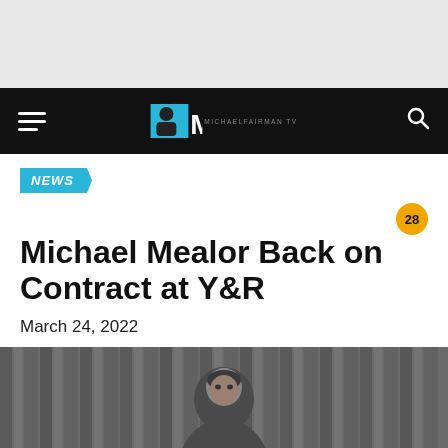NEWS
Michael Mealor Back on Contract at Y&R
March 24, 2022
[Figure (photo): Photo of Michael Mealor against a dark vertical-stripe background, shown from chest up]